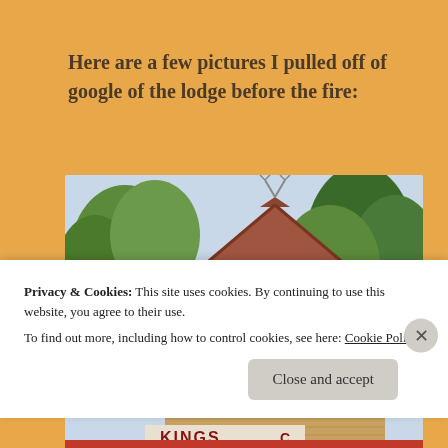Here are a few pictures I pulled off of google of the lodge before the fire:
[Figure (photo): Photo of a lodge building with a peaked roof with red/brown metal roofing and tan/wooden siding. Trees are visible in the background. A partial sign reading 'KINGS' is visible at the bottom of the image.]
Privacy & Cookies: This site uses cookies. By continuing to use this website, you agree to their use.
To find out more, including how to control cookies, see here: Cookie Policy